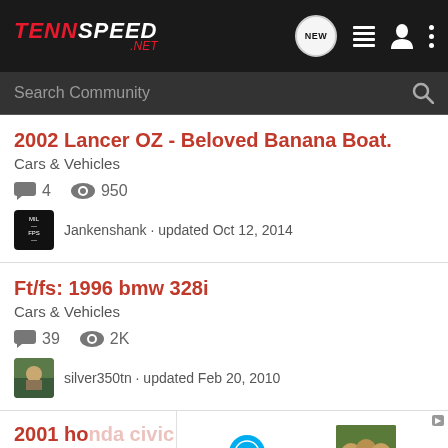TennSpeed.NET — navigation bar with logo, NEW, list, user, and menu icons
Search Community
2002 Lancer OZ - Beloved Banana Boat.
Cars & Vehicles
4 comments · 950 views
Jankenshank · updated Oct 12, 2014
Ft/fs: 1996 bmw 328i
Cars & Vehicles
39 comments · 2K views
silver350tn · updated Feb 20, 2010
2001 ho...river extra cl... (partially obscured by ad)